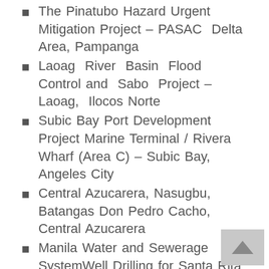The Pinatubo Hazard Urgent Mitigation Project – PASAC Delta Area, Pampanga
Laoag River Basin Flood Control and Sabo Project – Laoag, Ilocos Norte
Subic Bay Port Development Project Marine Terminal / Rivera Wharf (Area C) – Subic Bay, Angeles City
Central Azucarera, Nasugbu, Batangas Don Pedro Cacho, Central Azucarera
Manila Water and Sewerage SystemWell Drilling for Santa Rita 1000 MW CCPS, Batangas City
Various real estate developments of Megaworld, Inc.
Various real estate projects of